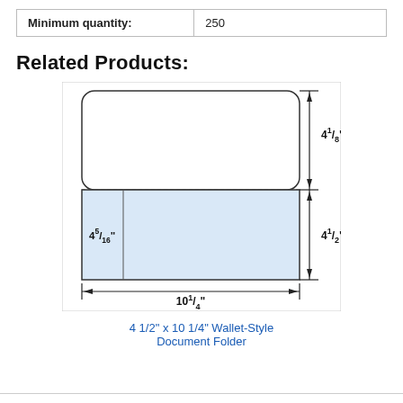| Minimum quantity: | 250 |
Related Products:
[Figure (engineering-diagram): Technical schematic diagram of a 4 1/2" x 10 1/4" Wallet-Style Document Folder showing a flap (4 1/8" tall) folded over a body (4 1/2" tall), total width 10 1/4", with a pocket section (4 5/16" wide) on the left side of the body. Light blue shading on the body/pocket area. Dimension lines and arrows indicating measurements.]
4 1/2" x 10 1/4" Wallet-Style Document Folder